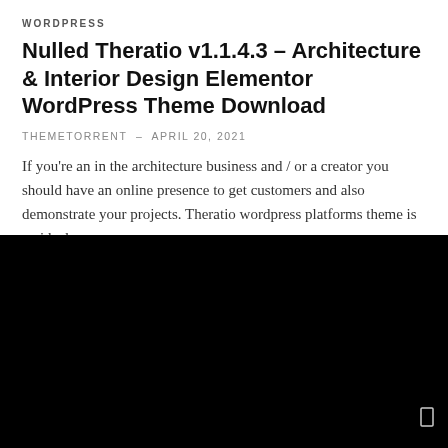WORDPRESS
Nulled Theratio v1.1.4.3 – Architecture & Interior Design Elementor WordPress Theme Download
THEMETORRENT – APRIL 20, 2021
If you're an in the architecture business and / or a creator you should have an online presence to get customers and also demonstrate your projects. Theratio wordpress platforms theme is an ideal w…
0  0
[Figure (photo): Black rectangle image block at the bottom of the page, nearly full width, representing a dark/blank featured image area with a small white rectangle icon in the bottom right corner.]